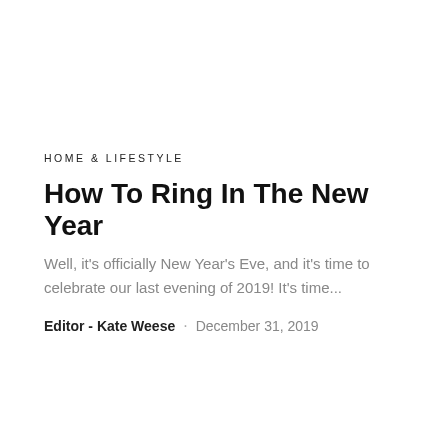HOME & LIFESTYLE
How To Ring In The New Year
Well, it's officially New Year's Eve, and it's time to celebrate our last evening of 2019! It's time...
Editor - Kate Weese · December 31, 2019